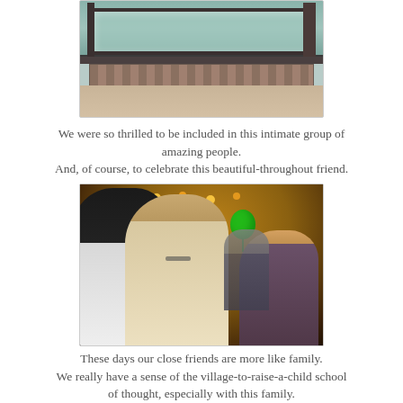[Figure (photo): Close-up photo of an industrial glass ceiling or roof panel with metal framing and rivets, viewed from below. Shows greenish frosted glass panel with dark metal structural elements.]
We were so thrilled to be included in this intimate group of amazing people.
And, of course, to celebrate this beautiful-throughout friend.
[Figure (photo): Photo of people hugging and celebrating indoors, possibly on a decorated bus or trolley. Two people embrace warmly in the foreground, a woman with glasses smiles in the background right, and a green balloon is visible. Warm ambient lighting.]
These days our close friends are more like family.
We really have a sense of the village-to-raise-a-child school of thought, especially with this family.